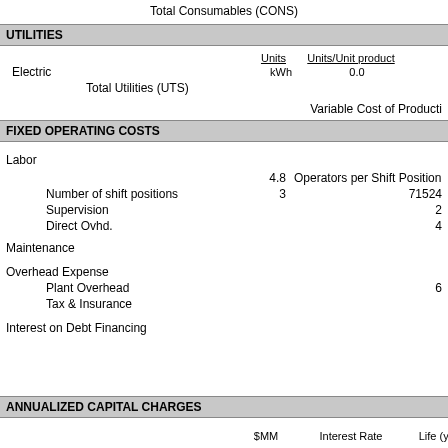Total Consumables (CONS)
UTILITIES
|  | Units | Units/Unit product | Uni... |
| --- | --- | --- | --- |
| Electric | kWh | 0.0 | 2. |
| Total Utilities (UTS) |  |  |  |
Variable Cost of Production
FIXED OPERATING COSTS
Labor
4.8   Operators per Shift Position
Number of shift positions    3    71524
Supervision    2
Direct Ovhd.    4
Maintenance
Overhead Expense
Plant Overhead    6
Tax & Insurance
Interest on Debt Financing
ANNUALIZED CAPITAL CHARGES
|  | $MM | Interest Rate | Life (yr) |
| --- | --- | --- | --- |